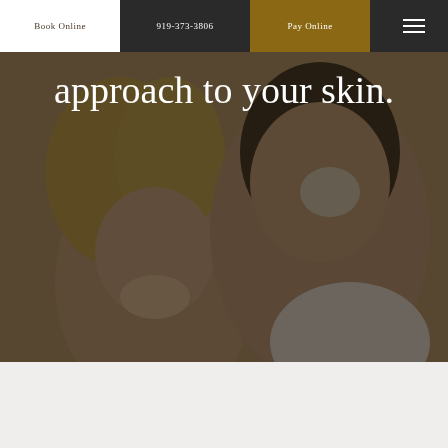Book Online | 919-373-3806 | Pay Online
approach to your skin.
[Figure (photo): Two smiling women applying skincare products to their faces, photographed from below against a light background, with a dark overlay over the image.]